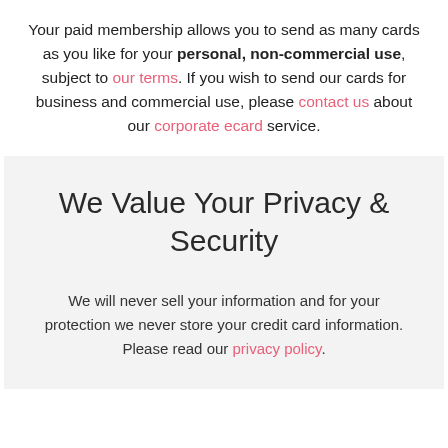Your paid membership allows you to send as many cards as you like for your personal, non-commercial use, subject to our terms. If you wish to send our cards for business and commercial use, please contact us about our corporate ecard service.
We Value Your Privacy & Security
We will never sell your information and for your protection we never store your credit card information. Please read our privacy policy.